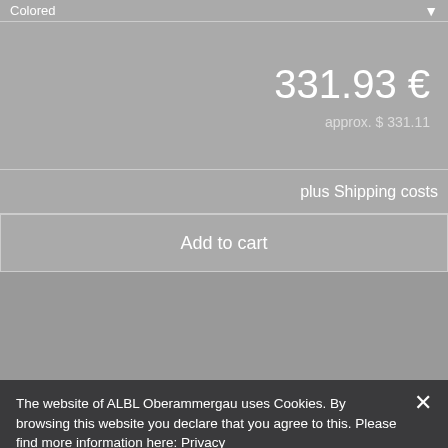Colored ▼
331.93 €
approx. $ 331.11
plus Shipping costs
Add to cart
The website of ALBL Oberammergau uses Cookies. By browsing this website you declare that you agree to this. Please find more information here: Privacy